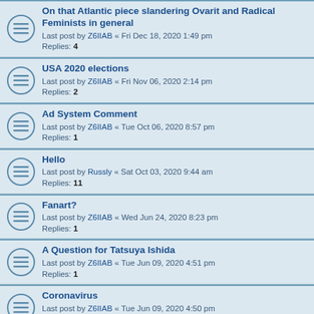On that Atlantic piece slandering Ovarit and Radical Feminists in general
Last post by Z6IIAB « Fri Dec 18, 2020 1:49 pm
Replies: 4
USA 2020 elections
Last post by Z6IIAB « Fri Nov 06, 2020 2:14 pm
Replies: 2
Ad System Comment
Last post by Z6IIAB « Tue Oct 06, 2020 8:57 pm
Replies: 1
Hello
Last post by Russly « Sat Oct 03, 2020 9:44 am
Replies: 11
Fanart?
Last post by Z6IIAB « Wed Jun 24, 2020 8:23 pm
Replies: 1
A Question for Tatsuya Ishida
Last post by Z6IIAB « Tue Jun 09, 2020 4:51 pm
Replies: 1
Coronavirus
Last post by Z6IIAB « Tue Jun 09, 2020 4:50 pm
Replies: 5
Gender research song
Last post by Z6IIAB « Mon Feb 03, 2020 11:23 am
Replies: 3
The Prostitute's Revenge in Japanese Folklore
Last post by Tatsuya Ishida « Mon Jan 27, 2020 1:27 pm
Replies: 1